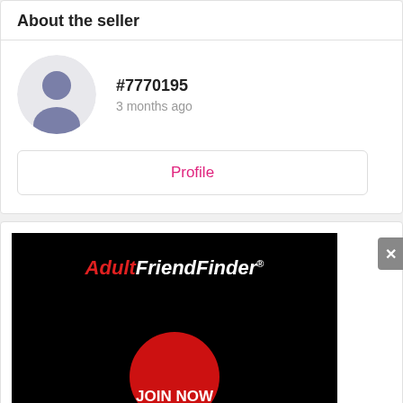About the seller
#7770195
3 months ago
Profile
[Figure (logo): AdultFriendFinder advertisement banner with black background, brand logo in red italic 'Adult' and white italic 'FriendFinder' text, and a red circular JOIN NOW button at the bottom.]